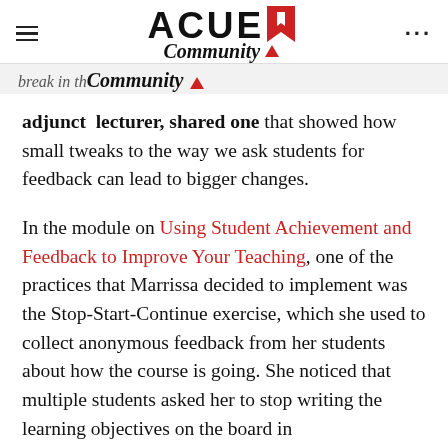ACUE Community
break in th...
adjunct lecturer, shared one that showed how small tweaks to the way we ask students for feedback can lead to bigger changes.
In the module on Using Student Achievement and Feedback to Improve Your Teaching, one of the practices that Marrissa decided to implement was the Stop-Start-Continue exercise, which she used to collect anonymous feedback from her students about how the course is going. She noticed that multiple students asked her to stop writing the learning objectives on the board in